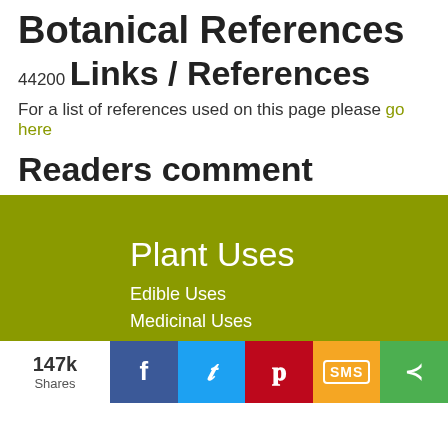Botanical References
44200
Links / References
For a list of references used on this page please go here
Readers comment
Plant Uses
Edible Uses
Medicinal Uses
Other Plant uses
147k Shares